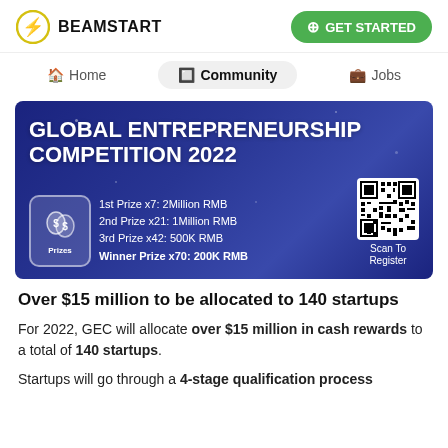BEAMSTART | GET STARTED
Home | Community | Jobs
[Figure (infographic): Global Entrepreneurship Competition 2022 banner on dark blue background. Shows prizes: 1st Prize x7: 2Million RMB, 2nd Prize x21: 1Million RMB, 3rd Prize x42: 500K RMB, Winner Prize x70: 200K RMB. Includes a QR code with 'Scan To Register' label and a Prizes icon.]
Over $15 million to be allocated to 140 startups
For 2022, GEC will allocate over $15 million in cash rewards to a total of 140 startups.
Startups will go through a 4-stage qualification process